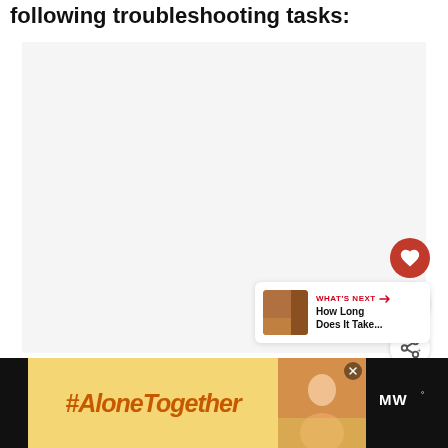following troubleshooting tasks:
[Figure (screenshot): Large light gray empty content box, a floating toolbar on the right with a red heart/like button, a count of 3, and a share button. A 'What's Next' card appears in the lower right with a thumbnail and title 'How Long Does It Take...']
[Figure (infographic): Advertisement bar at the bottom: black strip on left, yellow section with '#AloneTogether' text in orange italic, photo section showing a woman, close button, and right black section with MW logo]